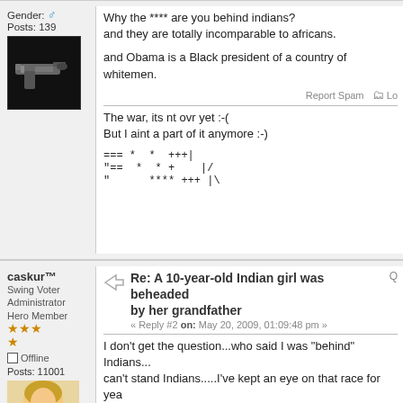Gender: male, Posts: 139
Why the **** are you behind indians?
and they are totally incomparable to africans.

and Obama is a Black president of a country of whitemen.
The war, its nt ovr yet :-(
But I aint a part of it anymore :-)
=== *  *  +++|
"==  *  * +    |/
"      **** +++ |\
caskur™
Swing Voter
Administrator
Hero Member
Posts: 11001
Re: A 10-year-old Indian girl was beheaded by her grandfather
« Reply #2 on: May 20, 2009, 01:09:48 pm »
I don't get the question...who said I was "behind" Indians...can't stand Indians.....I've kept an eye on that race for yea
I love their fantastic use of spices in food but that is the ONLY thing I like about them...LOL